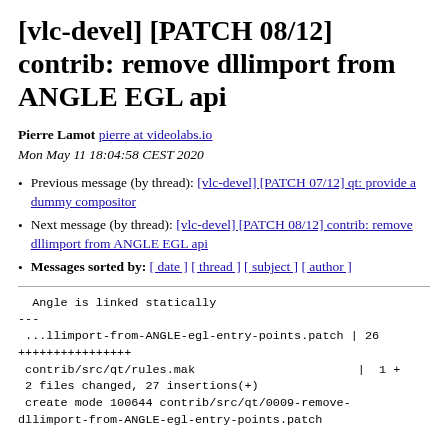[vlc-devel] [PATCH 08/12] contrib: remove dllimport from ANGLE EGL api
Pierre Lamot pierre at videolabs.io
Mon May 11 18:04:58 CEST 2020
Previous message (by thread): [vlc-devel] [PATCH 07/12] qt: provide a dummy compositor
Next message (by thread): [vlc-devel] [PATCH 08/12] contrib: remove dllimport from ANGLE EGL api
Messages sorted by: [ date ] [ thread ] [ subject ] [ author ]
Angle is linked statically
---
 ...llimport-from-ANGLE-egl-entry-points.patch | 26
++++++++++++++++
 contrib/src/qt/rules.mak                       |  1 +
 2 files changed, 27 insertions(+)
 create mode 100644 contrib/src/qt/0009-remove-dllimport-from-ANGLE-egl-entry-points.patch